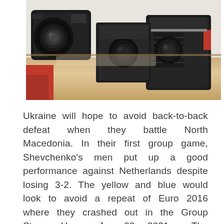[Figure (photo): Photo of vintage cameras and modern camera on a wooden shelf. Two old folding cameras and a DSLR are arranged on a light wood surface.]
Ukraine will hope to avoid back-to-back defeat when they battle North Macedonia. In their first group game, Shevchenko's men put up a good performance against Netherlands despite losing 3-2. The yellow and blue would look to avoid a repeat of Euro 2016 where they crashed out in the Group Stage. Hence Jun 09, 2021 · The countdown to UEFA EURO 2020 is well and truly on, with 24 teams set to vie for the trophy between 11 June and 11 July…